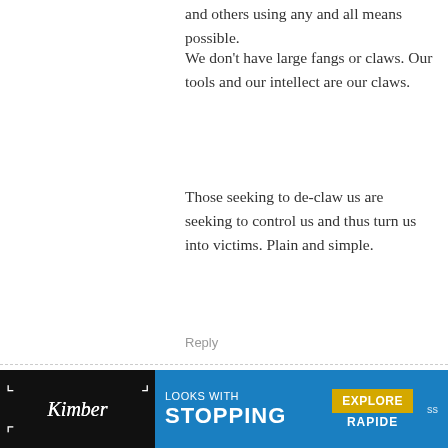and others using any and all means possible.
We don't have large fangs or claws. Our tools and our intellect are our claws.
Those seeking to de-claw us are seeking to control us and thus turn us into victims. Plain and simple.
Reply
Principled
June 27, 2018 At 22:16
The mentally ill have no business possessing firearms. Enough said.
Reply
Sam I Am
June 28, 2018 At 09:21
[Figure (other): Advertisement banner for Kimber featuring text LOOKS WITH STOPPING and EXPLORE RAPIDE]